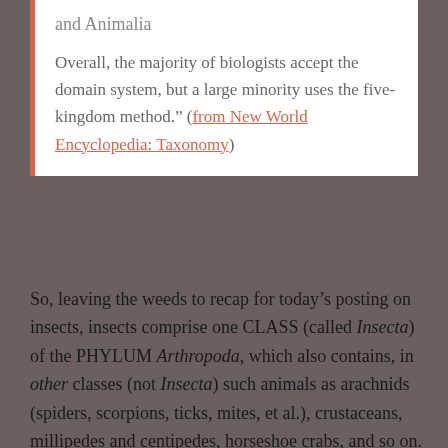and Animalia

Overall, the majority of biologists accept the domain system, but a large minority uses the five-kingdom method." (from New World Encyclopedia: Taxonomy)
So, leaving the weeds to recap for today's posting on insects, insects comprise one CLASS (called Insecta) of the PHYLUM Arthropoda, which also contains, in other classes (not Insecta) such animals as arachnids (spiders, scorpions, ticks, mites, et al.), crustaceans, millipedes and centipedes, horseshoe crabs, and so on.